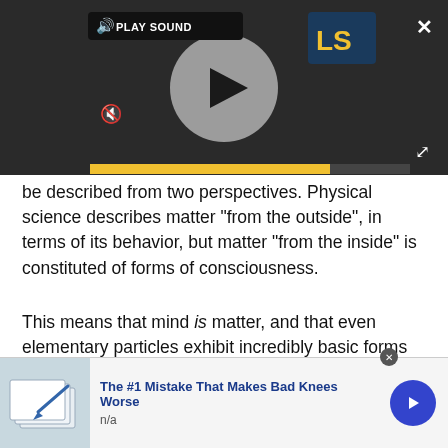[Figure (screenshot): Video player with play button, PLAY SOUND label, speaker/mute icon, LS logo, progress bar, close X and expand icons on dark background]
be described from two perspectives. Physical science describes matter "from the outside", in terms of its behavior, but matter "from the inside" is constituted of forms of consciousness.
This means that mind is matter, and that even elementary particles exhibit incredibly basic forms of consciousness. Before you write that off, consider this. Consciousness can vary in complexity. We have good reason to think that the conscious experiences of the...
[Figure (screenshot): Advertisement banner: The #1 Mistake That Makes Bad Knees Worse. n/a. With image of papers and a blue arrow button.]